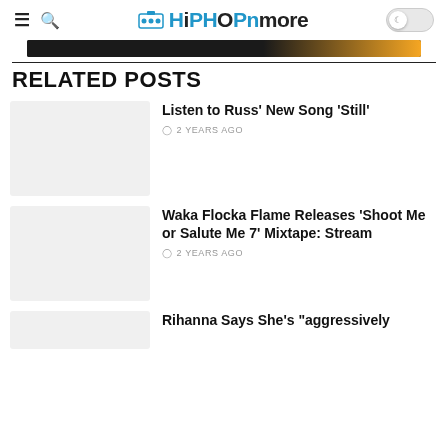HiPHOPnmore
[Figure (other): Dark advertisement banner]
RELATED POSTS
Listen to Russ' New Song 'Still'
2 YEARS AGO
Waka Flocka Flame Releases 'Shoot Me or Salute Me 7' Mixtape: Stream
2 YEARS AGO
Rihanna Says She's "aggressively